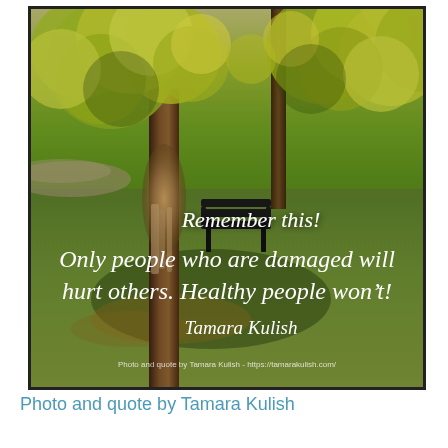[Figure (photo): Outdoor park scene with a large tree (damaged trunk with hanging bark) in the foreground, a black park bench in the middle ground, green lawn, golden autumn foliage. Overlaid in white cursive script: 'Remember this! Only people who are damaged will hurt others. Healthy people won't! Tamara Kulish'. Small text at bottom: 'Photo and quote by Tamara Kulish - https://tamarakulish.com/']
Photo and quote by Tamara Kulish